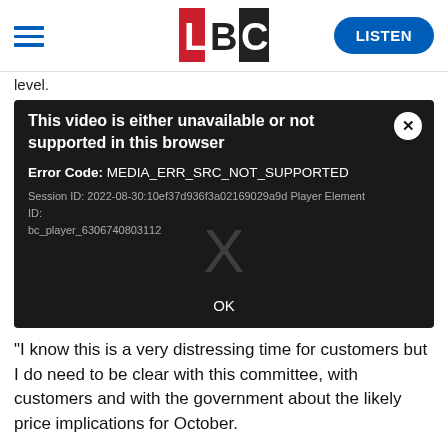LBC — hamburger menu, LBC logo, LISTEN button
level.
[Figure (screenshot): Video player error overlay on dark background. Title: 'This video is either unavailable or not supported in this browser'. Error Code: MEDIA_ERR_SRC_NOT_SUPPORTED. Session ID: 2022-08-30:10ef37d936f3a02169029a9d Player Element ID: bc_player_6306740803112. Large faded X watermark in centre. OK button at bottom.]
"I know this is a very distressing time for customers but I do need to be clear with this committee, with customers and with the government about the likely price implications for October.